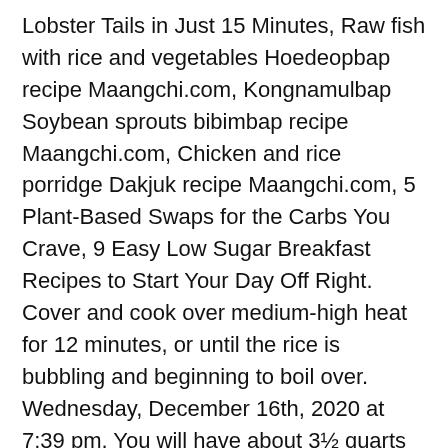Lobster Tails in Just 15 Minutes, Raw fish with rice and vegetables Hoedeopbap recipe Maangchi.com, Kongnamulbap Soybean sprouts bibimbap recipe Maangchi.com, Chicken and rice porridge Dakjuk recipe Maangchi.com, 5 Plant-Based Swaps for the Carbs You Crave, 9 Easy Low Sugar Breakfast Recipes to Start Your Day Off Right. Cover and cook over medium-high heat for 12 minutes, or until the rice is bubbling and beginning to boil over. Wednesday, December 16th, 2020 at 7:39 pm. You will have about 3½ quarts (14 cups). Cover with cold water, then drain. Stir from time to time and keep boiling for 10 to 20 minutes, until medium sized bubbles (about ½ inch) appear. Put the rice in a bowl. After one bite you will taste the earthy, a little sweet, and nutty flavor and know it is worthwhile. Set the rice cooker on the warm setting, cover, and let stand for 6 hours. But I also offer a modern method below for making a smaller amount of rice syrup using a large (at least 10-cup) rice cooker with a warm function. You can stir the mixture with the wooden spoon. Add 8 cups of water and stir well.